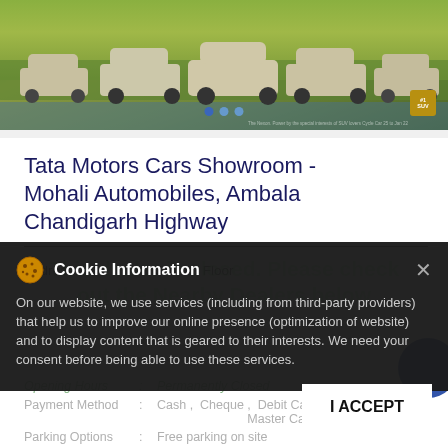[Figure (photo): Tata Motors cars lineup (SUVs in gold/beige color) parked near a body of water with green foliage in background. Carousel dots visible at bottom.]
Tata Motors Cars Showroom - Mohali Automobiles, Ambala Chandigarh Highway
Address : Ground Floor
This dealer is closed. Please check out the Nearby Dealers below
Cookie Information
On our website, we use services (including from third-party providers) that help us to improve our online presence (optimization of website) and to display content that is geared to their interests. We need your consent before being able to use these services.
Opening Hours : Permanently Closed
Payment Method : Cash, Cheque, Debit Card, Master Card, Online Pay...
Parking Options : Free parking on site